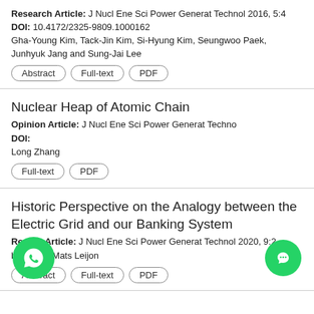Research Article: J Nucl Ene Sci Power Generat Technol 2016, 5:4
DOI: 10.4172/2325-9809.1000162
Gha-Young Kim, Tack-Jin Kim, Si-Hyung Kim, Seungwoo Paek, Junhyuk Jang and Sung-Jai Lee
Nuclear Heap of Atomic Chain
Opinion Article: J Nucl Ene Sci Power Generat Techno
DOI:
Long Zhang
Historic Perspective on the Analogy between the Electric Grid and our Banking System
Review Article: J Nucl Ene Sci Power Generat Technol 2020, 9:2
bing* and Mats Leijon